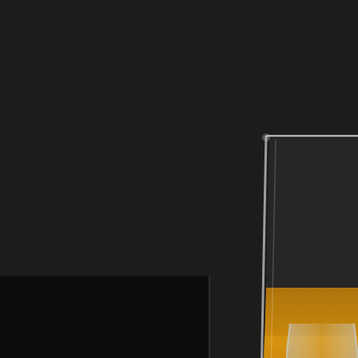RUSTIC CANYON WINE BAR, SAN T
Los Angeles
Sweet
[Figure (photo): A low-ball cocktail glass with layered liquid: clear bottom layer, deep purple/violet middle layer, and amber/orange upper layer, photographed on a dark background with a subtle reflection on the surface below.]
DIRTY GIBSON
RUSTIC CANYON WINE BAR, SANT
[Figure (photo): Partial view of another cocktail glass at the bottom-right corner of the page.]